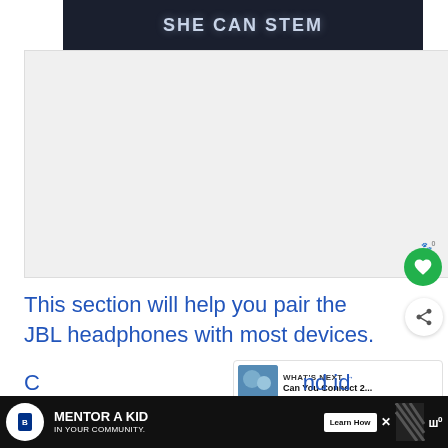[Figure (screenshot): SHE CAN STEM banner with dark navy/starfield background and light text]
[Figure (screenshot): Embedded video player area, light grey background (video content)]
This section will help you pair the JBL headphones with most devices.
Phones and Mobile Devices
[Figure (screenshot): Bottom advertisement banner: Big Brothers Big Sisters — MENTOR A KID IN YOUR COMMUNITY. Learn How button.]
C... ...and id...